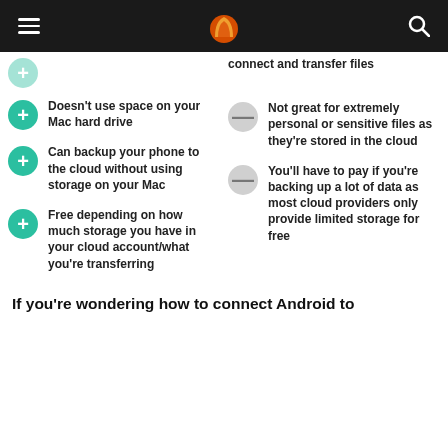MobileSyrup
connect and transfer files
Doesn't use space on your Mac hard drive
Not great for extremely personal or sensitive files as they're stored in the cloud
Can backup your phone to the cloud without using storage on your Mac
You'll have to pay if you're backing up a lot of data as most cloud providers only provide limited storage for free
Free depending on how much storage you have in your cloud account/what you're transferring
If you're wondering how to connect Android to